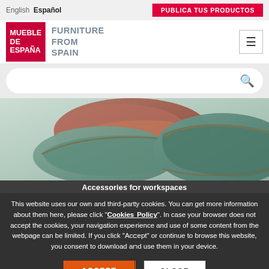English  Español  |  PUBLICA TUS PRODUCTOS
[Figure (logo): Mueble de España / Furniture from Spain logo with red square and hamburger menu icon]
[Figure (screenshot): Search bar with magnifying glass icon on light grey background]
[Figure (photo): Close-up photo of teal and brown leather cushions/pillows stacked on white background]
Accessories for workspaces
This website uses our own and third-party cookies. You can get more information about them here, please click "Cookies Policy". In case your browser does not accept the cookies, your navigation experience and use of some content from the webpage can be limited. If you click "Accept" or continue to browse this website, you consent to download and use them in your device.
ACCEPT  CLOSE